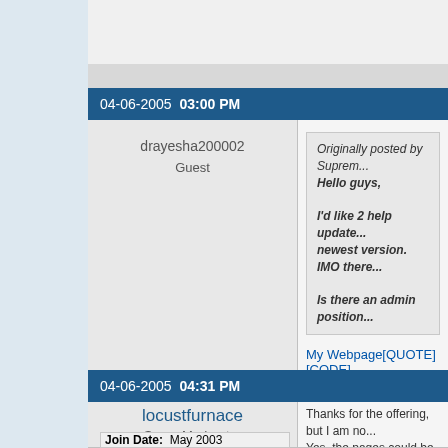04-06-2005 03:00 PM
drayesha200002
Guest
Originally posted by Suprem... Hello guys, I&#39;d like 2 help update... newest version. IMO there... Is there an admin position...
My Webpage[QUOTE][CODE]
drayesha@yahoo com
04-06-2005 04:31 PM
locustfurnace
Super Moderator
Join Date:  May 2003
Thanks for the offering, but I am no... Yes, the pages could be updated w... software. There really is not a need... really are at the wrong site.